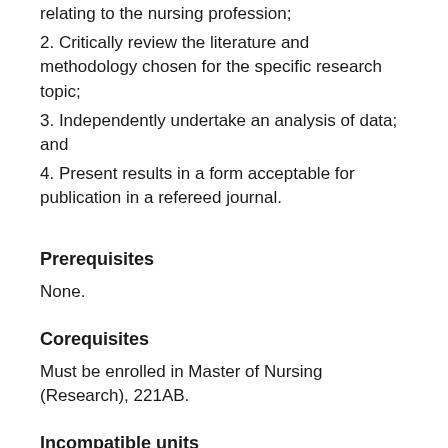relating to the nursing profession;
2. Critically review the literature and methodology chosen for the specific research topic;
3. Independently undertake an analysis of data; and
4. Present results in a form acceptable for publication in a refereed journal.
Prerequisites
None.
Corequisites
Must be enrolled in Master of Nursing (Research), 221AB.
Incompatible units
None.
Equivalent units
None.